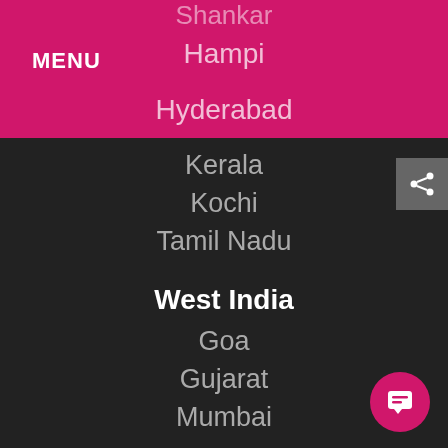MENU
Shankar
Hampi
Hyderabad
Kerala
Kochi
Tamil Nadu
West India
Goa
Gujarat
Mumbai
Central India
Agra
Gwalior
Madhya Pradesh
Varanasi